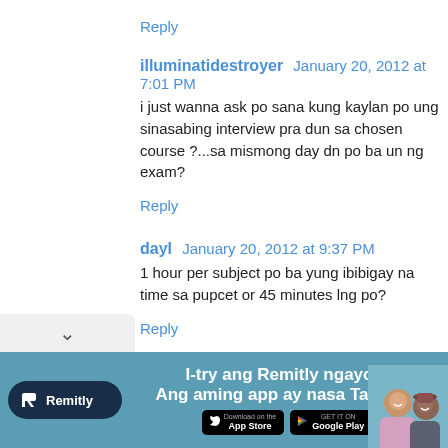Reply
illuminatidestroyer   January 20, 2012 at 7:01 PM
i just wanna ask po sana kung kaylan po ung sinasabing interview pra dun sa chosen course ?...sa mismong day dn po ba un ng exam?
Reply
dayl   January 20, 2012 at 9:37 PM
1 hour per subject po ba yung ibibigay na time sa pupcet or 45 minutes lng po?
Reply
[Figure (screenshot): Advertisement banner for Remitly app with teal background. Shows Remitly logo, text 'I-try ang Remitly ngayon. Ang aming app ay nasa Tagalog.' with App Store and Google Play badges, and a photo of smiling people on the right.]